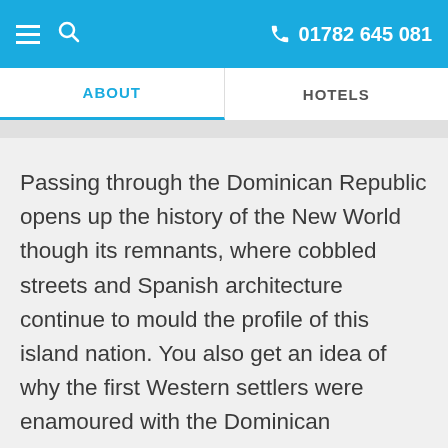01782 645 081
ABOUT
HOTELS
Passing through the Dominican Republic opens up the history of the New World though its remnants, where cobbled streets and Spanish architecture continue to mould the profile of this island nation. You also get an idea of why the first Western settlers were enamoured with the Dominican Republic, where vibrant rolling mountains stand vigil over whale-dotted seas and pristine